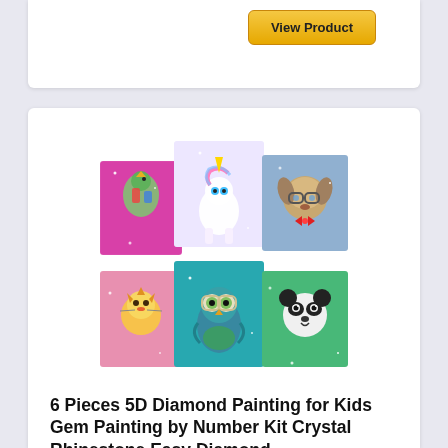[Figure (screenshot): View Product button on white card background]
[Figure (photo): Product image showing 6 pieces of 5D diamond painting kits for kids featuring animals: parrot, unicorn, dog (top row) and cat/lion, owl, panda (bottom row). Sparkly mosaic gem art on colorful backgrounds.]
6 Pieces 5D Diamond Painting for Kids Gem Painting by Number Kit Crystal Rhinestone Easy Diamond